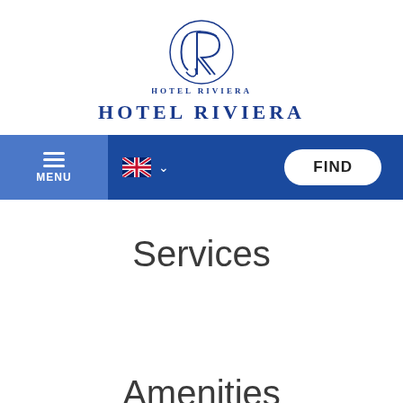[Figure (logo): Hotel Riviera logo with stylized R monogram in a circle and the text HOTEL RIVIERA below in blue serif letters]
[Figure (screenshot): Navigation bar with hamburger menu on left (light blue background), UK flag language selector, and FIND button on right (white pill button on dark blue background)]
Services
Amenities